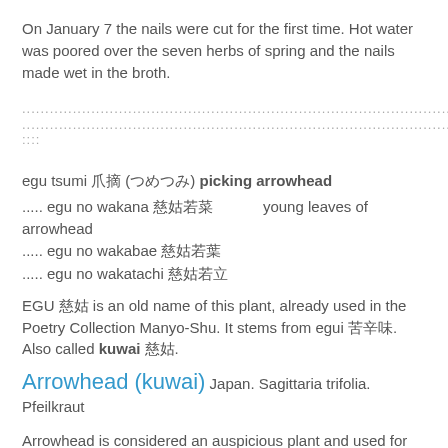On January 7 the nails were cut for the first time. Hot water was poored over the seven herbs of spring and the nails made wet in the broth.
...............................................................................................................................................................................................................::::
egu tsumi 爪摘 (つめつみ) picking arrowhead
..... egu no wakana 慈姑若菜young leaves of arrowhead
..... egu no wakabae 慈姑若葉
..... egu no wakatachi 慈姑若立
EGU 慈姑 is an old name of this plant, already used in the Poetry Collection Manyo-Shu. It stems from egui 苦辛味. Also called kuwai 慈姑.
Arrowhead (kuwai) Japan. Sagittaria trifolia. Pfeilkraut
Arrowhead is considered an auspicious plant and used for